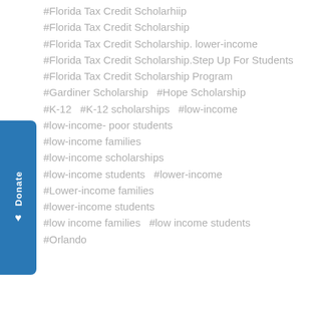#Florida Tax Credit Scholarhiip
#Florida Tax Credit Scholarship
#Florida Tax Credit Scholarship. lower-income
#Florida Tax Credit Scholarship.Step Up For Students
#Florida Tax Credit Scholarship Program
#Gardiner Scholarship  #Hope Scholarship
#K-12  #K-12 scholarships  #low-income
#low-income- poor students
#low-income families
#low-income scholarships
#low-income students  #lower-income
#Lower-income families
#lower-income students
#low income families  #low income students
#Orlando